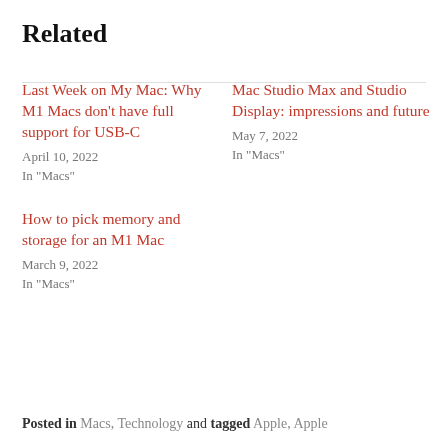Related
Last Week on My Mac: Why M1 Macs don't have full support for USB-C
April 10, 2022
In "Macs"
Mac Studio Max and Studio Display: impressions and future
May 7, 2022
In "Macs"
How to pick memory and storage for an M1 Mac
March 9, 2022
In "Macs"
Posted in Macs, Technology and tagged Apple, Apple